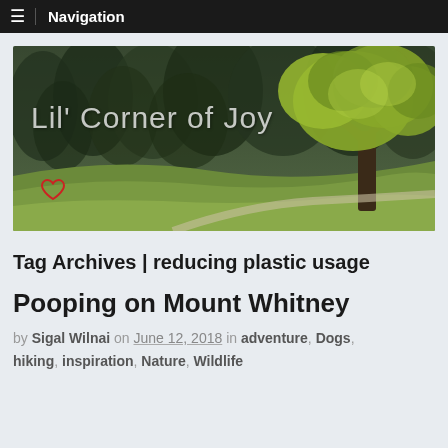Navigation
[Figure (photo): Lil' Corner of Joy blog banner image showing an oak tree on a green hillside with dense forest background]
Tag Archives | reducing plastic usage
Pooping on Mount Whitney
by Sigal Wilnai on June 12, 2018 in adventure, Dogs, hiking, inspiration, Nature, Wildlife